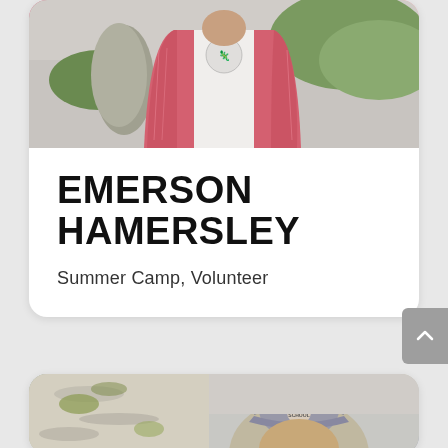[Figure (photo): Photo of Emerson Hamersley wearing a white t-shirt with a graphic and a pink/red patterned open cardigan, standing outdoors near a stone wall and greenery.]
EMERSON HAMERSLEY
Summer Camp,  Volunteer
[Figure (photo): Partial photo of a person wearing a gray baseball cap with 'Nature School' text, standing in front of birch trees with lichen.]